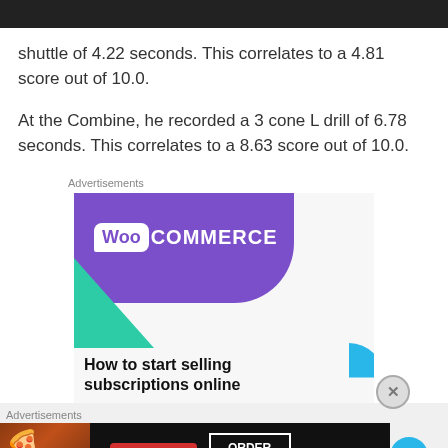shuttle of 4.22 seconds. This correlates to a 4.81 score out of 10.0.
At the Combine, he recorded a 3 cone L drill of 6.78 seconds. This correlates to a 8.63 score out of 10.0.
[Figure (other): WooCommerce advertisement: purple banner with WooCommerce logo, green triangle shape, blue arc, text 'How to start selling subscriptions online']
[Figure (other): Seamless food delivery advertisement with pizza image, Seamless badge, ORDER NOW button, and scroll-to-top button]